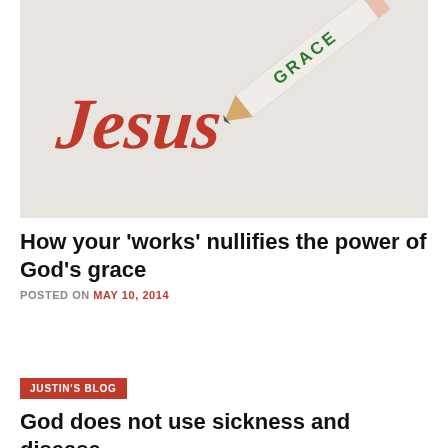[Figure (photo): A white pencil labeled 'GRACE' in green lettering writing the word 'JESUS' in red handwritten script on a white background.]
How your 'works' nullifies the power of God's grace
POSTED ON MAY 10, 2014
JUSTIN'S BLOG
God does not use sickness and disease